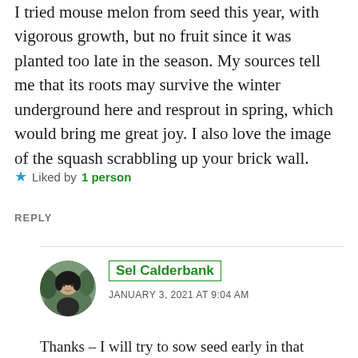I tried mouse melon from seed this year, with vigorous growth, but no fruit since it was planted too late in the season. My sources tell me that its roots may survive the winter underground here and resprout in spring, which would bring me great joy. I also love the image of the squash scrabbling up your brick wall.
★ Liked by 1 person
REPLY
[Figure (photo): Circular avatar photo of Sel Calderbank, a woman with dark hair outdoors]
Sel Calderbank
JANUARY 3, 2021 AT 9:04 AM
Thanks – I will try to sow seed early in that case. Would be great if roots survive to...